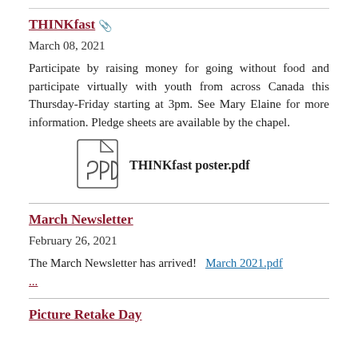THINKfast 📎
March 08, 2021
Participate by raising money for going without food and participate virtually with youth from across Canada this Thursday-Friday starting at 3pm. See Mary Elaine for more information. Pledge sheets are available by the chapel.
[Figure (other): PDF file icon with THINKfast poster.pdf label]
March Newsletter
February 26, 2021
The March Newsletter has arrived!   March 2021.pdf ...
Picture Retake Day